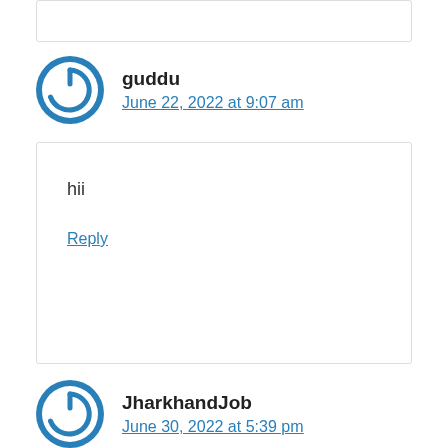[Figure (logo): Blue circular power/WordPress avatar icon for user guddu]
guddu
June 22, 2022 at 9:07 am
hii
Reply
[Figure (logo): Blue circular power/WordPress avatar icon for user JharkhandJob]
JharkhandJob
June 30, 2022 at 5:39 pm